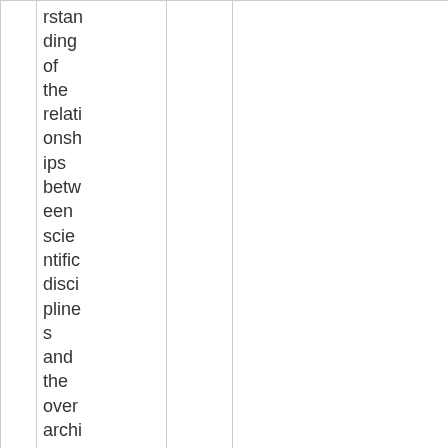|  | rstan
ding
of
the
relati
onsh
ips
betw
een
scie
ntific
disci
pline
s
and
the
over
archi
ng |  |  |  |  |